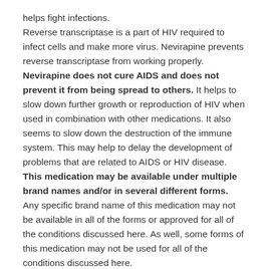helps fight infections.
Reverse transcriptase is a part of HIV required to infect cells and make more virus. Nevirapine prevents reverse transcriptase from working properly.
Nevirapine does not cure AIDS and does not prevent it from being spread to others. It helps to slow down further growth or reproduction of HIV when used in combination with other medications. It also seems to slow down the destruction of the immune system. This may help to delay the development of problems that are related to AIDS or HIV disease.
This medication may be available under multiple brand names and/or in several different forms. Any specific brand name of this medication may not be available in all of the forms or approved for all of the conditions discussed here. As well, some forms of this medication may not be used for all of the conditions discussed here.
Your doctor may have suggested this medication for conditions other than those listed in these drug information